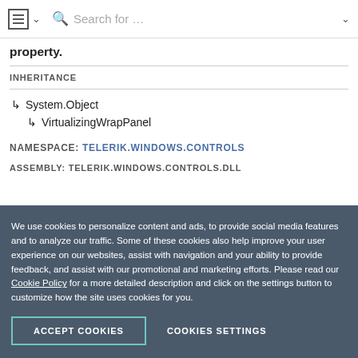Search for ...
property.
INHERITANCE
↳ System.Object
↳ VirtualizingWrapPanel
NAMESPACE: TELERIK.WINDOWS.CONTROLS
ASSEMBLY: TELERIK.WINDOWS.CONTROLS.DLL
We use cookies to personalize content and ads, to provide social media features and to analyze our traffic. Some of these cookies also help improve your user experience on our websites, assist with navigation and your ability to provide feedback, and assist with our promotional and marketing efforts. Please read our Cookie Policy for a more detailed description and click on the settings button to customize how the site uses cookies for you.
ACCEPT COOKIES
COOKIES SETTINGS